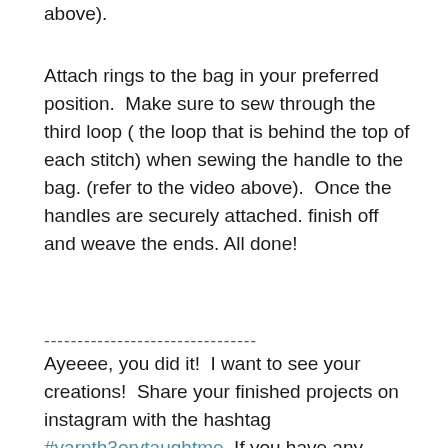above).
Attach rings to the bag in your preferred position.  Make sure to sew through the third loop ( the loop that is behind the top of each stitch) when sewing the handle to the bag. (refer to the video above).  Once the handles are securely attached. finish off and weave the ends. All done!
--------------------------------
Ayeeee, you did it!  I want to see your creations!  Share your finished projects on instagram with the hashtag #yarnth3orytaughtme. If you have any questions, post them in the comments below.